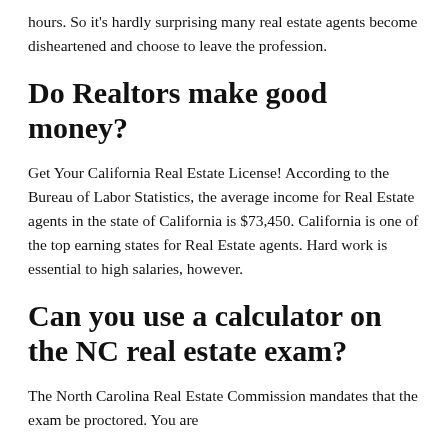hours. So it's hardly surprising many real estate agents become disheartened and choose to leave the profession.
Do Realtors make good money?
Get Your California Real Estate License! According to the Bureau of Labor Statistics, the average income for Real Estate agents in the state of California is $73,450. California is one of the top earning states for Real Estate agents. Hard work is essential to high salaries, however.
Can you use a calculator on the NC real estate exam?
The North Carolina Real Estate Commission mandates that the exam be proctored. You are